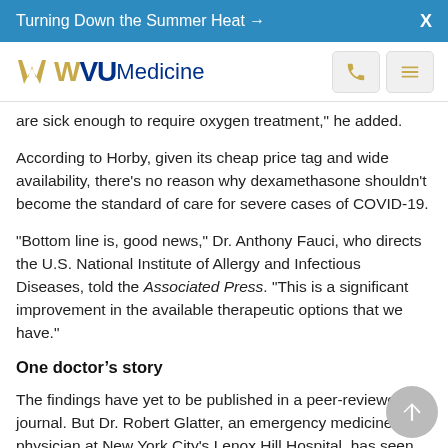Turning Down the Summer Heat →   X
[Figure (logo): WVU Medicine logo with navigation phone and menu buttons]
are sick enough to require oxygen treatment," he added.
According to Horby, given its cheap price tag and wide availability, there's no reason why dexamethasone shouldn't become the standard of care for severe cases of COVID-19.
"Bottom line is, good news," Dr. Anthony Fauci, who directs the U.S. National Institute of Allergy and Infectious Diseases, told the Associated Press. "This is a significant improvement in the available therapeutic options that we have."
One doctor's story
The findings have yet to be published in a peer-reviewed journal. But Dr. Robert Glatter, an emergency medicine physician at New York City's Lenox Hill Hospital, has seen the drug's effectiveness firsthand